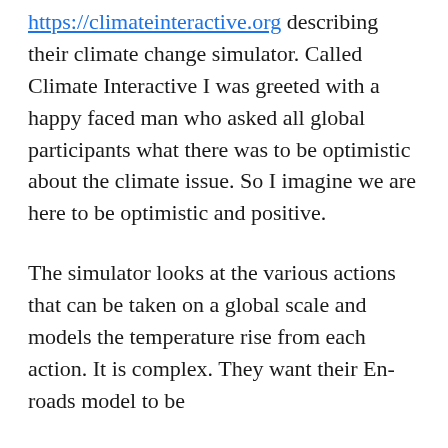https://climateinteractive.org describing their climate change simulator. Called Climate Interactive I was greeted with a happy faced man who asked all global participants what there was to be optimistic about the climate issue. So I imagine we are here to be optimistic and positive.
The simulator looks at the various actions that can be taken on a global scale and models the temperature rise from each action. It is complex. They want their En-roads model to be